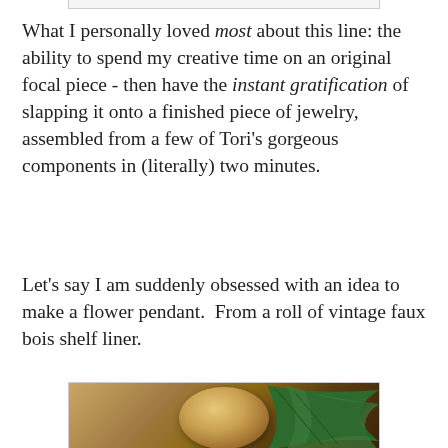[Figure (photo): Top portion of a photo showing a partial view, mostly white/grey, clipped at top of page]
What I personally loved most about this line: the ability to spend my creative time on an original focal piece - then have the instant gratification of slapping it onto a finished piece of jewelry, assembled from a few of Tori's gorgeous components in (literally) two minutes.
Let's say I am suddenly obsessed with an idea to make a flower pendant.  From a roll of vintage faux bois shelf liner.
[Figure (photo): Photo of a smooth wooden oval pendant surrounded by green fern leaves]